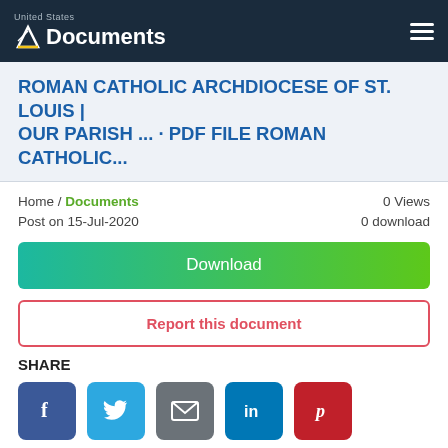United States Documents
ROMAN CATHOLIC ARCHDIOCESE OF ST. LOUIS | OUR PARISH ... · PDF FILE ROMAN CATHOLIC...
Home / Documents   0 Views
Post on 15-Jul-2020   0 download
Download
Report this document
SHARE
[Figure (infographic): Social share buttons: Facebook (blue), Twitter (light blue), Email (grey), LinkedIn (blue), Pinterest (red)]
[Figure (infographic): Document viewer toolbar showing grid icon, lightbulb icon, page input showing '1', 'of 12', minus and plus zoom controls]